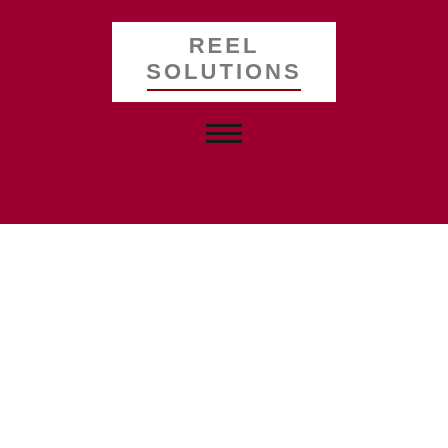[Figure (logo): Reel Solutions logo — white rectangle with bold gray text 'REEL SOLUTIONS' and a dark red underline, set on a dark crimson background with a hamburger menu icon below]
A Migrant